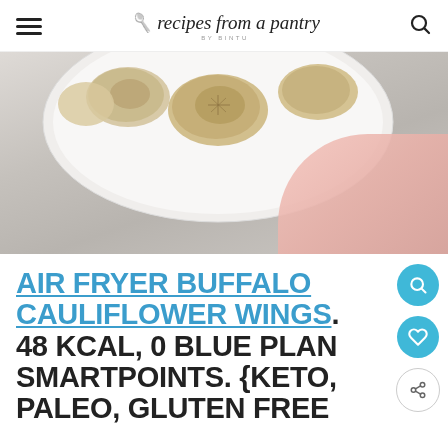recipes from a pantry BY BINTU
[Figure (photo): Top-down view of a white plate with golden-brown cauliflower wings, on a light gray/concrete surface with a pink napkin, partially cropped]
AIR FRYER BUFFALO CAULIFLOWER WINGS. 48 KCAL, 0 BLUE PLAN SMARTPOINTS. {KETO, PALEO, GLUTEN FREE